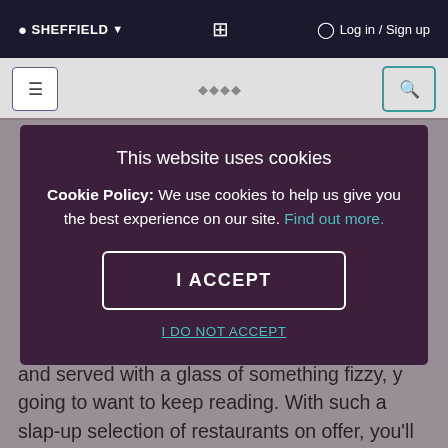SHEFFIELD ▼   [icon]   Log in / Sign up
[Figure (screenshot): Website navigation bar with hamburger menu and search icon]
This website uses cookies
Cookie Policy: We use cookies to help us give you the best experience on our site. Find out more.
I ACCEPT
I DO NOT ACCEPT
and served with a glass of something fizzy, y going to want to keep reading. With such a slap-up selection of restaurants on offer, you'll be spoilt for